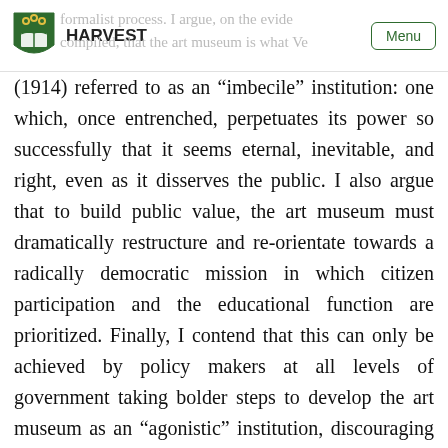HARVEST | Menu
(1914) referred to as an “imbecile” institution: one which, once entrenched, perpetuates its power so successfully that it seems eternal, inevitable, and right, even as it disserves the public. I also argue that to build public value, the art museum must dramatically restructure and re-orientate towards a radically democratic mission in which citizen participation and the educational function are prioritized. Finally, I contend that this can only be achieved by policy makers at all levels of government taking bolder steps to develop the art museum as an “agonistic” institution, discouraging the centralization of culture, and requiring greater diversity (both cultural and professional) on art museum boards, in managerial and creative positions, and in the assessment committees that evaluate the organizations.